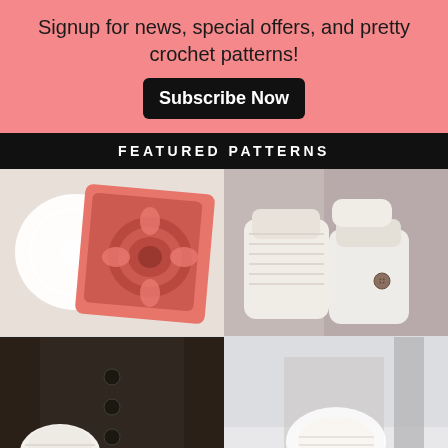Signup for news, special offers, and pretty crochet patterns! Subscribe Now
FEATURED PATTERNS
[Figure (photo): Coral/pink crochet granny square with white doily on wooden surface]
[Figure (photo): Person wearing cream white crochet fingerless mittens/gloves with pink coat]
[Figure (photo): Person wearing dark coat with white crocheted gloves, partially visible]
[Figure (photo): Person in winter scene holding cream white crocheted item, faded/washed out]